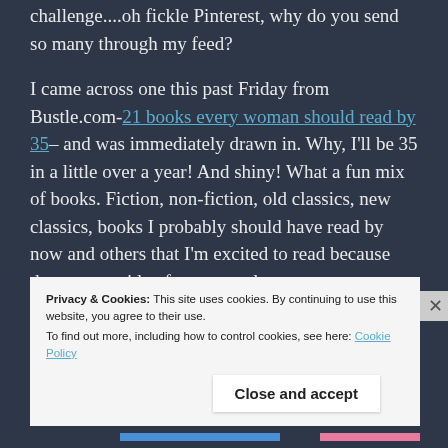challenge....oh fickle Pinterest, why do you send so many through my feed?
I came across one this past Friday from Bustle.com-21 books every woman should read by 35– and was immediately drawn in. Why, I'll be 35 in a little over a year! And shiny! What a fun mix of books. Fiction, non-fiction, old classics, new classics, books I probably should have read by now and others that I'm excited to read because they are outside of my normal genres, et cetera.
Privacy & Cookies: This site uses cookies. By continuing to use this website, you agree to their use. To find out more, including how to control cookies, see here: Cookie Policy
Close and accept